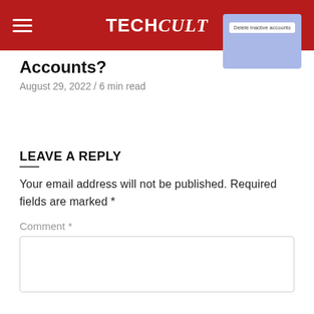TECHCult
Accounts?
August 29, 2022 / 6 min read
[Figure (screenshot): Blue screenshot area showing 'Delete inactive accounts' button]
LEAVE A REPLY
Your email address will not be published. Required fields are marked *
Comment *